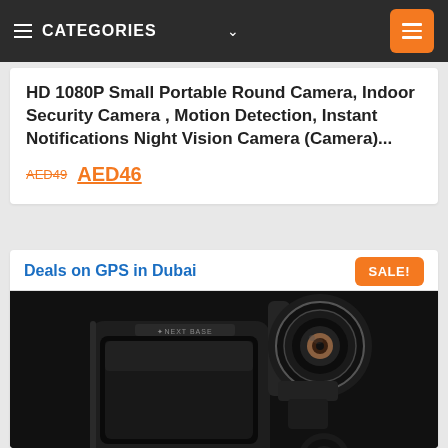CATEGORIES
HD 1080P Small Portable Round Camera, Indoor Security Camera , Motion Detection, Instant Notifications Night Vision Camera (Camera)...
AED49  AED46
Deals on GPS in Dubai
SALE!
[Figure (photo): Black Nextbase dual-lens dash camera with a large screen and a rotating camera module, shown from a low angle on a dark background.]